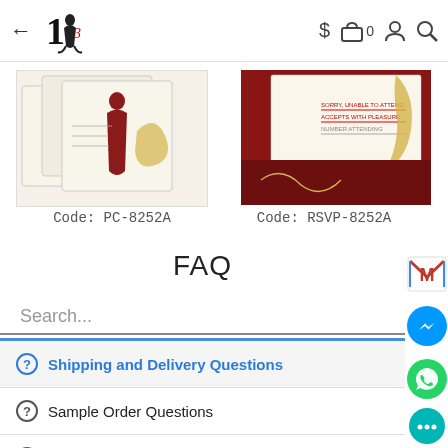[Figure (screenshot): Website navigation bar with back arrow, decorative logo, dollar sign, bag icon with 0, person icon, and search icon]
[Figure (photo): Two product card images: wedding invitation stationery. Left shows cream-colored cards with red figure, labeled Code: PC-8252A. Right shows RSVP card with red and gold motif, labeled Code: RSVP-8252A]
Code: PC-8252A
Code: RSVP-8252A
FAQ
Search...
Shipping and Delivery Questions
Sample Order Questions
Bulk Order Questions